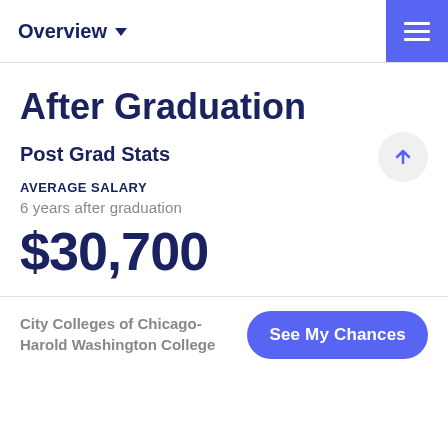Overview
After Graduation
Post Grad Stats
AVERAGE SALARY
6 years after graduation
$30,700
City Colleges of Chicago-Harold Washington College
See My Chances